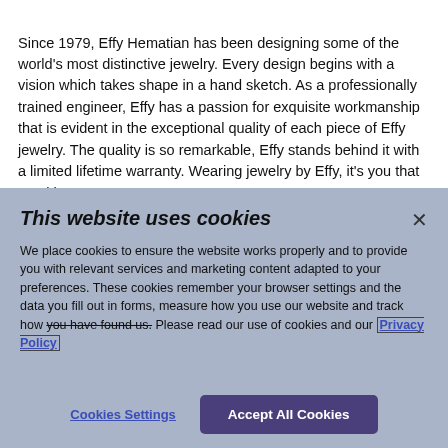Since 1979, Effy Hematian has been designing some of the world's most distinctive jewelry. Every design begins with a vision which takes shape in a hand sketch. As a professionally trained engineer, Effy has a passion for exquisite workmanship that is evident in the exceptional quality of each piece of Effy jewelry. The quality is so remarkable, Effy stands behind it with a limited lifetime warranty. Wearing jewelry by Effy, it's you that sparkles.
This website uses cookies
We place cookies to ensure the website works properly and to provide you with relevant services and marketing content adapted to your preferences. These cookies remember your browser settings and the data you fill out in forms, measure how you use our website and track how you have found us. Please read our use of cookies and our Privacy Policy